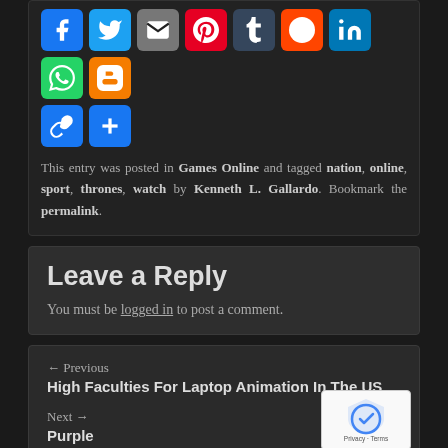[Figure (other): Social media share buttons: Facebook, Twitter, Email, Pinterest, Tumblr, Reddit, LinkedIn, WhatsApp, Blogger, Link, Add/More]
This entry was posted in Games Online and tagged nation, online, sport, thrones, watch by Kenneth L. Gallardo. Bookmark the permalink.
Leave a Reply
You must be logged in to post a comment.
← Previous
High Faculties For Laptop Animation In The US
Next →
Purple